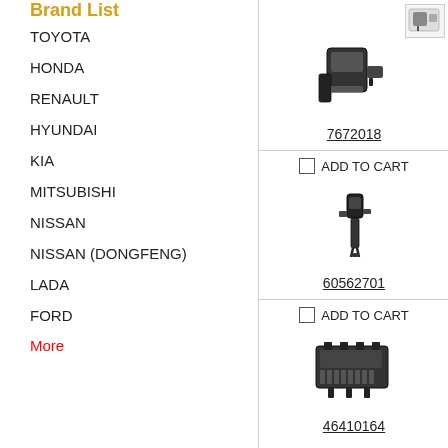Brand List
TOYOTA
HONDA
RENAULT
HYUNDAI
KIA
MITSUBISHI
NISSAN
NISSAN (DONGFENG)
LADA
FORD
More
[Figure (photo): Auto ignition coil product image, part number 7672018]
7672018
ADD TO CART
[Figure (photo): Auto ignition coil pen-type product image, part number 60562701]
60562701
ADD TO CART
[Figure (photo): Multi-coil ignition module product image, part number 46410164]
46410164